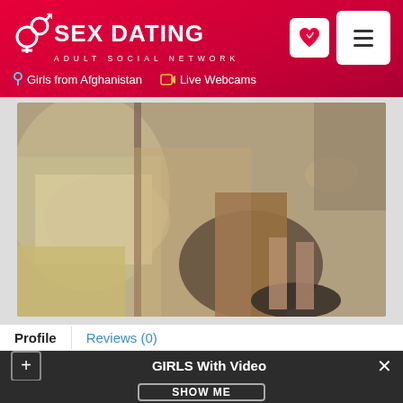SEX DATING ADULT SOCIAL NETWORK
Girls from Afghanistan   Live Webcams
[Figure (photo): Photo showing a person's legs standing on a patterned mat near a bed with colorful bedding, taken from above]
Profile   Reviews (0)
GIRLS With Video
SHOW ME